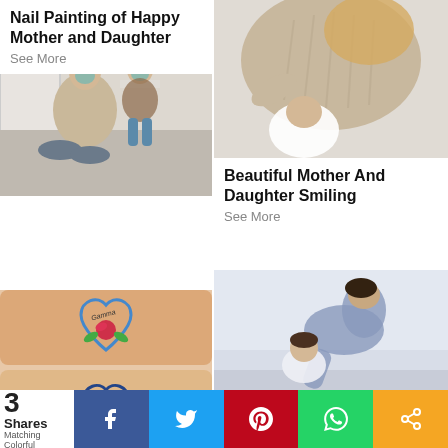[Figure (photo): Mother and daughter with face masks doing nail painting, sitting on floor near window]
Nail Painting of Happy Mother and Daughter
See More
[Figure (photo): Mother and daughter in knit sweater, daughter hugging mother from behind]
Beautiful Mother And Daughter Smiling
See More
[Figure (photo): Heart-shaped tattoos on wrist/ankle with roses and text 'Gamma' and 'Mom']
[Figure (photo): Mother leaning over daughter in kitchen]
3 Shares  Matching Colorful
3 Shares  Matching Colorful